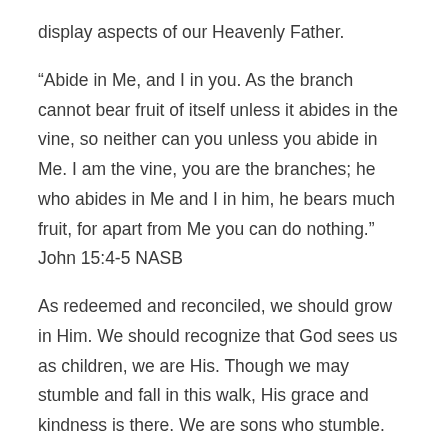display aspects of our Heavenly Father.
“Abide in Me, and I in you. As the branch cannot bear fruit of itself unless it abides in the vine, so neither can you unless you abide in Me. I am the vine, you are the branches; he who abides in Me and I in him, he bears much fruit, for apart from Me you can do nothing.” John 15:4-5 NASB
As redeemed and reconciled, we should grow in Him. We should recognize that God sees us as children, we are His. Though we may stumble and fall in this walk, His grace and kindness is there. We are sons who stumble.
“What shall we say then? Are we to continue in sin so that grace may increase? May it never be! How shall we who died to sin still live in it? Or do you not